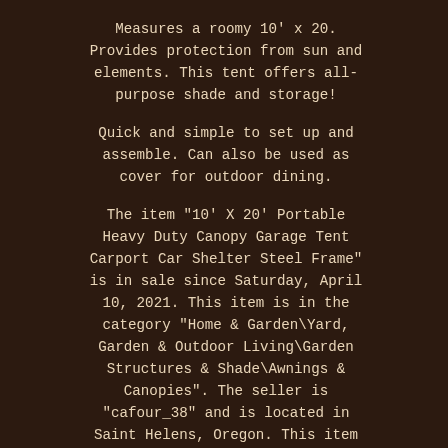Measures a roomy 10' x 20. Provides protection from sun and elements. This tent offers all-purpose shade and storage!
Quick and simple to set up and assemble. Can also be used as cover for outdoor dining.
The item "10' X 20' Portable Heavy Duty Canopy Garage Tent Carport Car Shelter Steel Frame" is in sale since Saturday, April 10, 2021. This item is in the category "Home & Garden\Yard, Garden & Outdoor Living\Garden Structures & Shade\Awnings & Canopies". The seller is "cafour_38" and is located in Saint Helens, Oregon. This item can be shipped to United States.